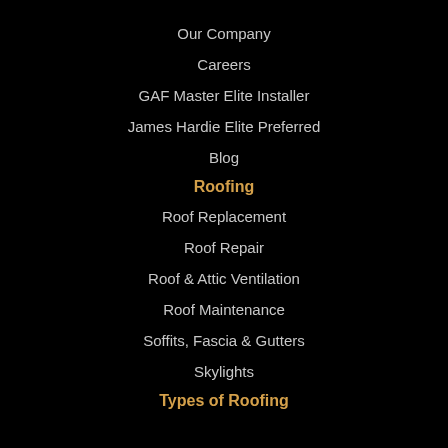Our Company
Careers
GAF Master Elite Installer
James Hardie Elite Preferred
Blog
Roofing
Roof Replacement
Roof Repair
Roof & Attic Ventilation
Roof Maintenance
Soffits, Fascia & Gutters
Skylights
Types of Roofing